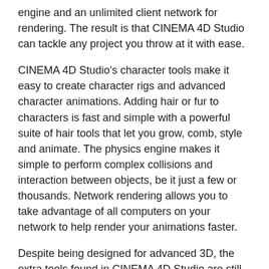engine and an unlimited client network for rendering. The result is that CINEMA 4D Studio can tackle any project you throw at it with ease.
CINEMA 4D Studio's character tools make it easy to create character rigs and advanced character animations. Adding hair or fur to characters is fast and simple with a powerful suite of hair tools that let you grow, comb, style and animate. The physics engine makes it simple to perform complex collisions and interaction between objects, be it just a few or thousands. Network rendering allows you to take advantage of all computers on your network to help render your animations faster.
Despite being designed for advanced 3D, the extra tools found in CINEMA 4D Studio are still designed to be user-friendly and intuitive. Generating advanced 3D effects such as hair is surprisingly easy and fast, with CINEMA 4D doing much of the work for you. For example, hair will automatically swoosh and sway as you move your character around; and making thousands of objects collide with each other only takes a few mouse clicks to set up.